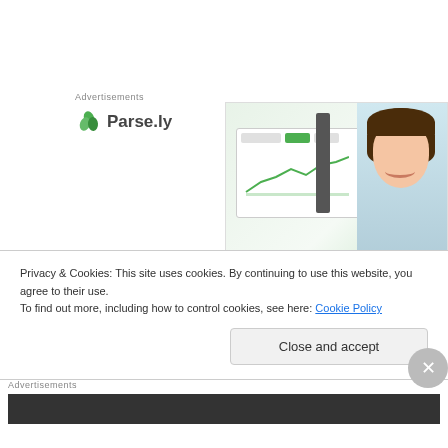Advertisements
[Figure (logo): Parse.ly logo with green leaf icon and Parse.ly text, alongside an advertisement banner image showing a smiling woman and a web analytics dashboard interface]
I don't want to go too deep into the show, or my love for it, because Patches is coming in cold and probably won't know half of what I'm saying. Also, it's still nice of me to
Privacy & Cookies: This site uses cookies. By continuing to use this website, you agree to their use.
To find out more, including how to control cookies, see here: Cookie Policy
Close and accept
Advertisements